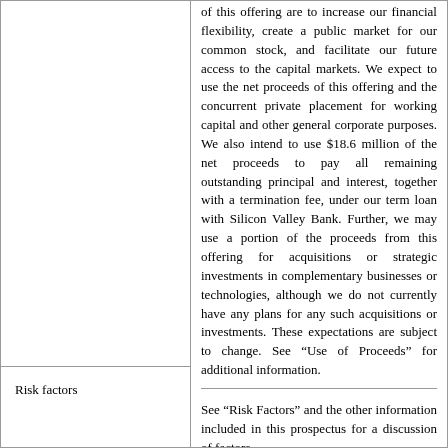of this offering are to increase our financial flexibility, create a public market for our common stock, and facilitate our future access to the capital markets. We expect to use the net proceeds of this offering and the concurrent private placement for working capital and other general corporate purposes. We also intend to use $18.6 million of the net proceeds to pay all remaining outstanding principal and interest, together with a termination fee, under our term loan with Silicon Valley Bank. Further, we may use a portion of the proceeds from this offering for acquisitions or strategic investments in complementary businesses or technologies, although we do not currently have any plans for any such acquisitions or investments. These expectations are subject to change. See “Use of Proceeds” for additional information.
Risk factors
See “Risk Factors” and the other information included in this prospectus for a discussion of factors